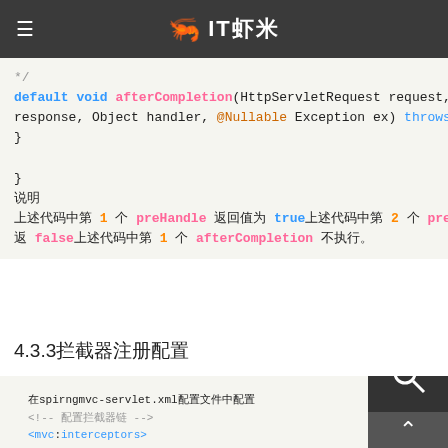IT虾米
*/
default void afterCompletion(HttpServletRequest request, HttpServletResponse response, Object handler, @Nullable Exception ex) throws Exception {
}

}
说明
上述代码中第 1 个 preHandle 返回值为 true，上述代码中第 2 个 preHandle 返回 false，上述代码中第 1 个 afterCompletion 不执行。
4.3.3拦截器注册配置
在spirngmvc-servlet.xml配置文件中配置
<!-- 配置拦截器链 -->
<mvc:interceptors>
    <mvc:interceptor>
        <mvc:mapping path="/**" /><!-- 配置拦截 url -->
        <mvc:exclude-mapping path=""/><!-- 排除拦截 url -->
        <bean id="customerInterceptor" class="com.zzg.panda.interceptor.CustomerInterceptor"/>
    </mvc:interceptor>